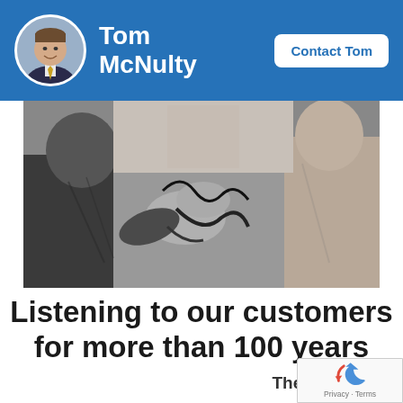Tom McNulty
[Figure (photo): Circular headshot of Tom McNulty, a man in a suit with a yellow tie, in the blue header bar]
Contact Tom
[Figure (photo): Black and white photograph of people, one appears to be checking another person's blood pressure with a stethoscope]
Listening to our customers for more than 100 years
The key to our longevity is simple